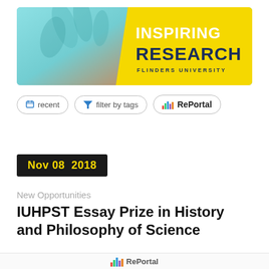[Figure (photo): Flinders University Inspiring Research banner with hands forming a frame shape, teal background transitioning to yellow with bold text 'INSPIRING RESEARCH FLINDERS UNIVERSITY']
recent   filter by tags   RePortal
Nov 08  2018
New Opportunities
IUHPST Essay Prize in History and Philosophy of Science